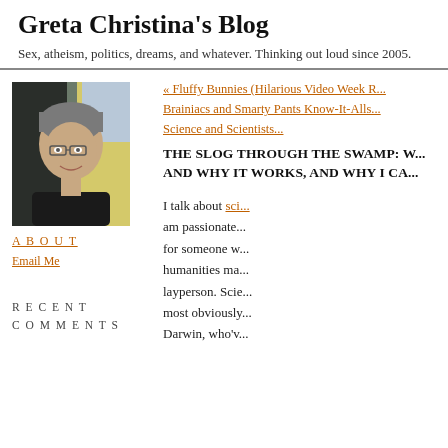Greta Christina's Blog
Sex, atheism, politics, dreams, and whatever. Thinking out loud since 2005.
[Figure (photo): Portrait photo of Greta Christina, a woman with short gray hair and glasses, smiling, wearing a black shirt, with a yellow wall in background]
ABOUT
Email Me
RECENT COMMENTS
« Fluffy Bunnies (Hilarious Video Week R...
Brainiacs and Smarty Pants Know-It-Alls...
Science and Scientists...
THE SLOG THROUGH THE SWAMP: W... AND WHY IT WORKS, AND WHY I CA...
I talk about sci... am passionate... for someone w... humanities ma... layperson. Scie... most obviously... Darwin, who'v...